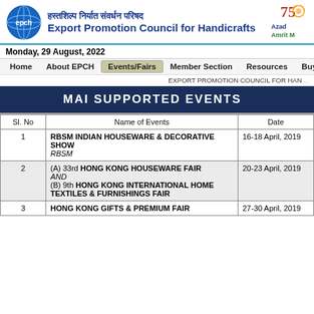Export Promotion Council for Handicrafts — हस्तशिल्प निर्यात संवर्धन परिषद
Monday, 29 August, 2022
Home   About EPCH   Events/Fairs   Member Section   Resources   Buyer Section
EXPORT PROMOTION COUNCIL FOR HANDICRAFTS
MAI SUPPORTED EVENTS
| Sl. No | Name of Events | Date |
| --- | --- | --- |
| 1 | RBSM INDIAN HOUSEWARE & DECORATIVE SHOW
RBSM | 16-18 April, 2019 |
| 2 | (A) 33rd HONG KONG HOUSEWARE FAIR
AND
(B) 9th HONG KONG INTERNATIONAL HOME TEXTILES & FURNISHINGS FAIR | 20-23 April, 2019 |
| 3 | HONG KONG GIFTS & PREMIUM FAIR | 27-30 April, 2019 |